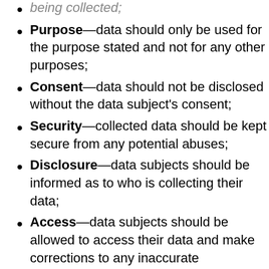being collected; (partial, cut off at top)
Purpose—data should only be used for the purpose stated and not for any other purposes;
Consent—data should not be disclosed without the data subject's consent;
Security—collected data should be kept secure from any potential abuses;
Disclosure—data subjects should be informed as to who is collecting their data;
Access—data subjects should be allowed to access their data and make corrections to any inaccurate (cut off at bottom)